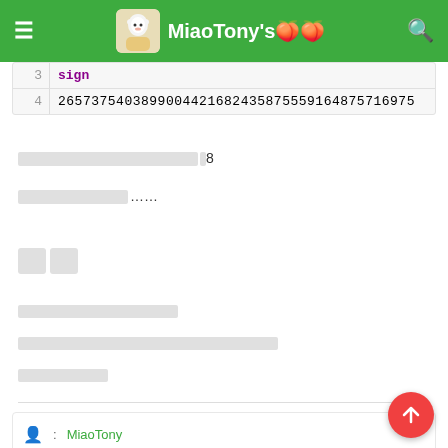MiaoTony's
| line | code |
| --- | --- |
| 3 | sign |
| 4 | 2657375403899004421682435875559164875716975 |
[placeholder text]8
[placeholder text]......
[placeholder]
[placeholder text line 1]
[placeholder text line 2]
[placeholder text line 3]
: MiaoTony
: